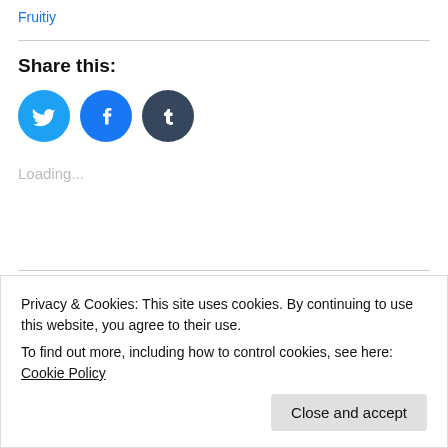Fruitiy
Share this:
[Figure (illustration): Three social media share buttons: Twitter (cyan circle with bird icon), Facebook (blue circle with f icon), Tumblr (dark circle with t icon)]
Loading...
Leave a Reply
Privacy & Cookies: This site uses cookies. By continuing to use this website, you agree to their use.
To find out more, including how to control cookies, see here: Cookie Policy